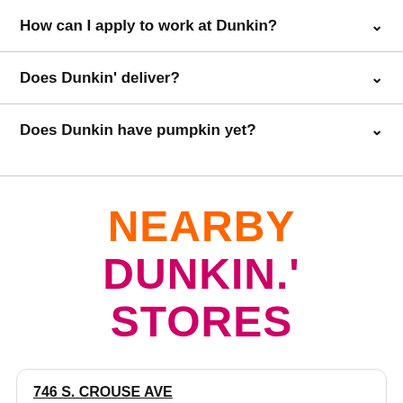How can I apply to work at Dunkin?
Does Dunkin' deliver?
Does Dunkin have pumpkin yet?
NEARBY DUNKIN.' STORES
746 S. CROUSE AVE
Open Now • Closes at 5:00 pm